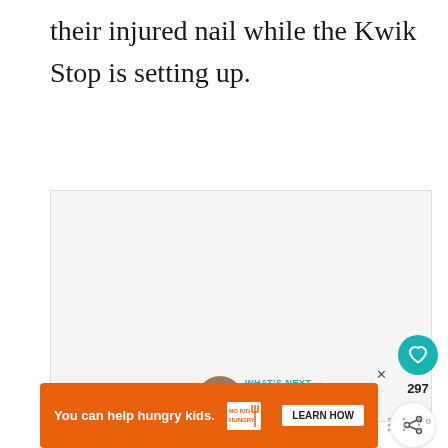their injured nail while the Kwik Stop is setting up.
[Figure (other): Light gray image placeholder area]
[Figure (infographic): Social interaction buttons: heart/like button (teal circle), like count 297, and share button (circle with share icon)]
[Figure (infographic): What's Next widget with thumbnail image and text: How To Easily and Quickly...]
[Figure (infographic): Orange advertisement banner: You can help hungry kids. No Kid Hungry fork logo. LEARN HOW button. Close X button.]